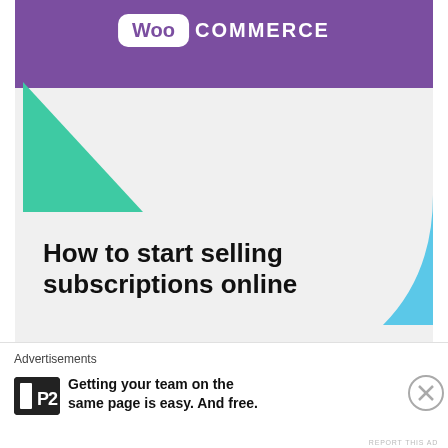[Figure (illustration): WooCommerce advertisement banner with purple header, WooCommerce logo, green triangle shape, blue organic shape, headline text 'How to start selling subscriptions online', and a purple 'Start a new store' button]
REPORT THIS AD
Jona on July 25, 2012 at 7:13 pm
Oh goodness! Thank you so much for including my blog on this wonderful list! I'm sorry I just noticed it (where have I been?). Off to take a
Advertisements
[Figure (logo): P2 logo - black square with P2 text in white]
Getting your team on the same page is easy. And free.
REPORT THIS AD